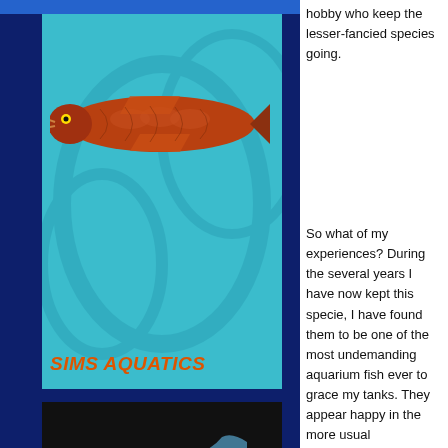[Figure (photo): Sims Aquatics advertisement card with teal/aqua background, showing a red arowana fish and the text 'SIMS AQUATICS' in italic orange letters]
[Figure (logo): The Aquatic Design Centre advertisement with black background, blue wave graphic, and white text reading 'THE AQUATIC DESIGN CENTRE - Aquarium Design Specialists & Aquatic Supplies']
hobby who keep the lesser-fancied species going.
So what of my experiences? During the several years I have now kept this specie, I have found them to be one of the most undemanding aquarium fish ever to grace my tanks. They appear happy in the more usual